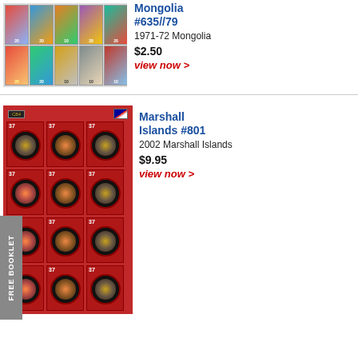[Figure (photo): Mongolia stamp set showing colorful animal/nature stamps in a 2-row grid]
Mongolia #635//79
1971-72 Mongolia
$2.50
view now >
[Figure (photo): Marshall Islands #801 stamp sheet showing 12 stamps in 4 rows of 3 with red background and circular designs, with 'FREE BOOKLET' tab on left side]
Marshall Islands #801
2002 Marshall Islands
$9.95
view now >